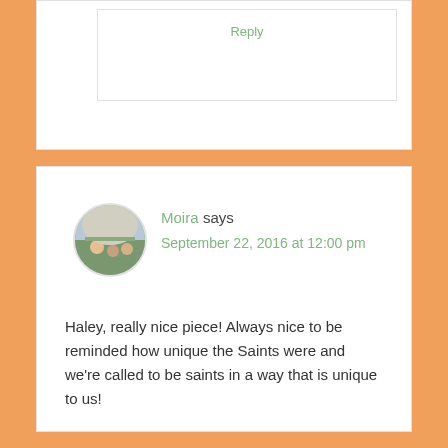Reply
Moira says
September 22, 2016 at 12:00 pm
Haley, really nice piece! Always nice to be reminded how unique the Saints were and we're called to be saints in a way that is unique to us!
Reply